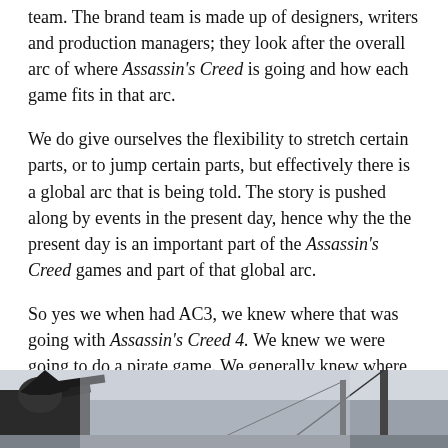team. The brand team is made up of designers, writers and production managers; they look after the overall arc of where Assassin's Creed is going and how each game fits in that arc.
We do give ourselves the flexibility to stretch certain parts, or to jump certain parts, but effectively there is a global arc that is being told. The story is pushed along by events in the present day, hence why the the present day is an important part of the Assassin's Creed games and part of that global arc.
So yes we when had AC3, we knew where that was going with Assassin's Creed 4. We knew we were going to do a pirate game. We generally knew where we wanted to take it; what events in the Templar's and Assassin's feud of the present day were in progress. AC4 is part of that grander story arc that we are telling.
[Figure (photo): Bottom portion of a screenshot or promotional image showing a character in Assassin's Creed style clothing, appearing to be holding a weapon, with a misty or atmospheric background.]